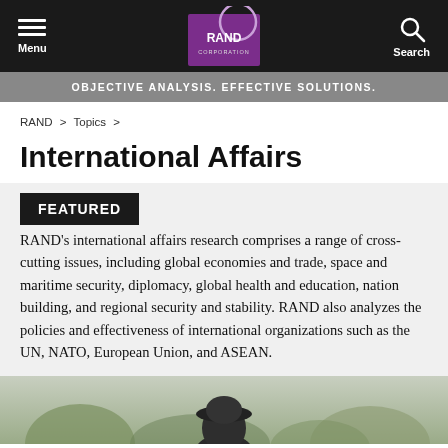Menu | RAND Corporation | Search
OBJECTIVE ANALYSIS. EFFECTIVE SOLUTIONS.
RAND > Topics >
International Affairs
FEATURED
RAND's international affairs research comprises a range of cross-cutting issues, including global economies and trade, space and maritime security, diplomacy, global health and education, nation building, and regional security and stability. RAND also analyzes the policies and effectiveness of international organizations such as the UN, NATO, European Union, and ASEAN.
[Figure (photo): Photo of a person wearing a dark hat outdoors with trees in the background]